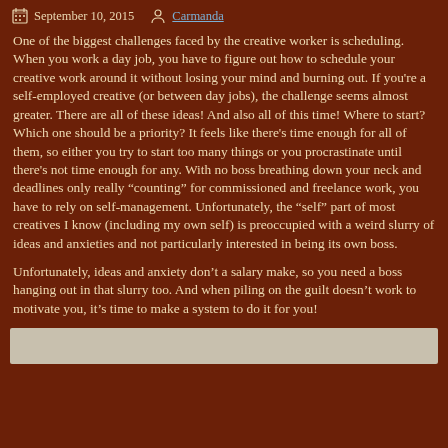September 10, 2015  Carmanda
One of the biggest challenges faced by the creative worker is scheduling.  When you work a day job, you have to figure out how to schedule your creative work around it without losing your mind and burning out.  If you're a self-employed creative (or between day jobs), the challenge seems almost greater.  There are all of these ideas!  And also all of this time!  Where to start?  Which one should be a priority?  It feels like there's time enough for all of them, so either you try to start too many things or you procrastinate until there's not time enough for any.  With no boss breathing down your neck and deadlines only really “counting” for commissioned and freelance work, you have to rely on self-management.  Unfortunately, the “self” part of most creatives I know (including my own self) is preoccupied with a weird slurry of ideas and anxieties and not particularly interested in being its own boss.
Unfortunately, ideas and anxiety don’t a salary make, so you need a boss hanging out in that slurry too.  And when piling on the guilt doesn’t work to motivate you, it’s time to make a system to do it for you!
[Figure (photo): Partial image visible at bottom of page, light gray/beige colored bar]